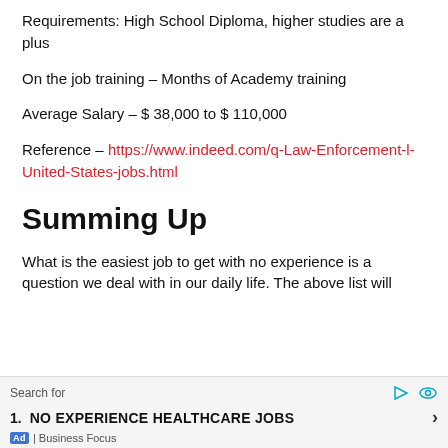Requirements: High School Diploma, higher studies are a plus
On the job training – Months of Academy training
Average Salary – $ 38,000 to $ 110,000
Reference – https://www.indeed.com/q-Law-Enforcement-l-United-States-jobs.html
Summing Up
What is the easiest job to get with no experience is a question we deal with in our daily life. The above list will
Search for
1. NO EXPERIENCE HEALTHCARE JOBS
Ad | Business Focus